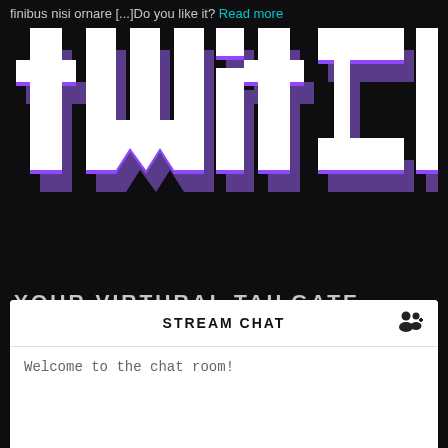finibus nisi ornare [...]Do you like it? Read more
[Figure (logo): Twitch logo in purple and white with 3D block style lettering on dark background]
YOUR VIRTURAL TAILGATE STARTS HERE
[Figure (screenshot): Stream Chat panel with header showing 'STREAM CHAT' and a user icon, and body showing 'Welcome to the chat room!']
STREAM CHAT
Welcome to the chat room!